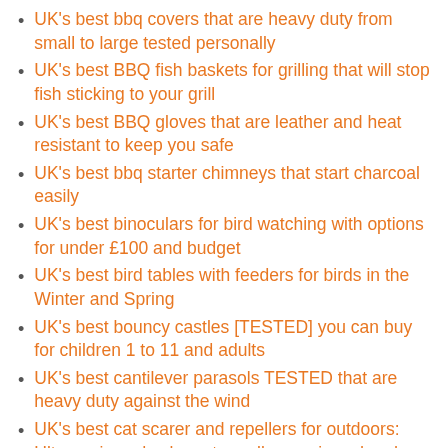UK's best bbq covers that are heavy duty from small to large tested personally
UK's best BBQ fish baskets for grilling that will stop fish sticking to your grill
UK's best BBQ gloves that are leather and heat resistant to keep you safe
UK's best bbq starter chimneys that start charcoal easily
UK's best binoculars for bird watching with options for under £100 and budget
UK's best bird tables with feeders for birds in the Winter and Spring
UK's best bouncy castles [TESTED] you can buy for children 1 to 11 and adults
UK's best cantilever parasols TESTED that are heavy duty against the wind
UK's best cat scarer and repellers for outdoors: Ultrasonic and solar cat repellers reviewed and compared
UK's best charcoal: Top Lumpwood and Restaurant Charcoal TESTED on a bbq